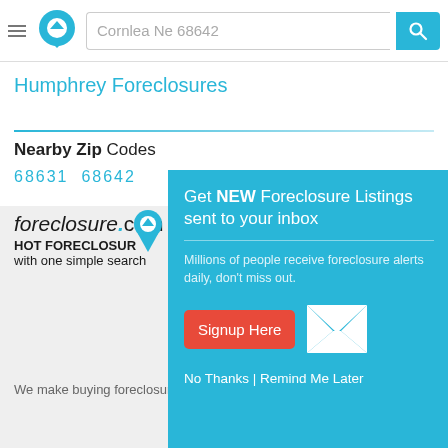Cornlea Ne 68642
Humphrey Foreclosures
Nearby Zip Codes
68631  68642
[Figure (infographic): Popup overlay with teal background: 'Get NEW Foreclosure Listings sent to your inbox' with email icon, signup button, and 'No Thanks | Remind Me Later' links]
foreclosure.com HOT FORECLOSUR with one simple search
We make buying foreclosures simple.